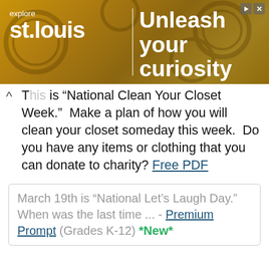[Figure (illustration): Advertisement banner for explore st.louis with text 'Unleash your curiosity' over golden gear background]
This is “National Clean Your Closet Week.”  Make a plan of how you will clean your closet someday this week.  Do you have any items or clothing that you can donate to charity? Free PDF
March 19th is “National Let’s Laugh Day.” When was the last time ... - Premium Prompt (Grades K-12) *New*
March 20
Today marks the first day of spring.  What is your favorite season and why? Free PDF
March 20th is the “International Day of Happiness.” What... - Premium Prompt (Grades